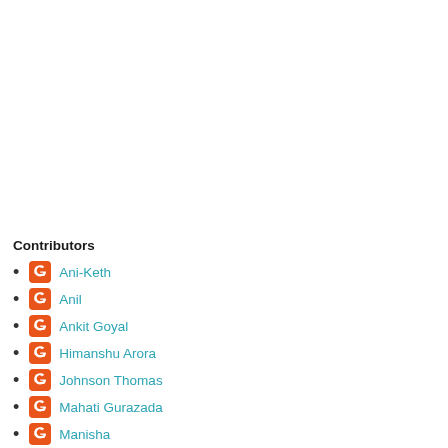Contributors
Ani-Keth
Anil
Ankit Goyal
Himanshu Arora
Johnson Thomas
Mahati Gurazada
Manisha